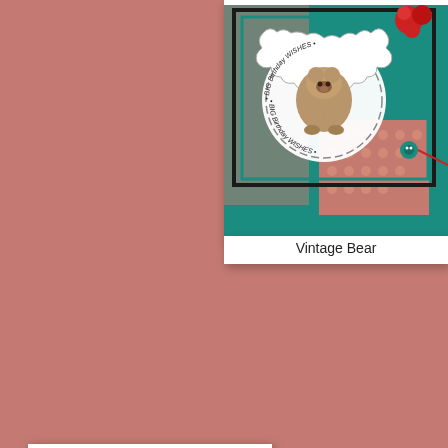[Figure (photo): Handmade greeting card called Vintage Bear featuring a teddy bear illustration in a scalloped circular frame with 'BIG Birthday Wishes' text, on a teal/turquoise background with red flower embellishments and polka dot patterned paper.]
Vintage Bear
[Figure (photo): Handmade Christmas card called Carousel Deer featuring a jumping reindeer decorated with floral elements on a white circular background, with white snowflake die cuts, brown/burlap layered background, and a 'Merry Christmas' sentiment label.]
Carousel Deer